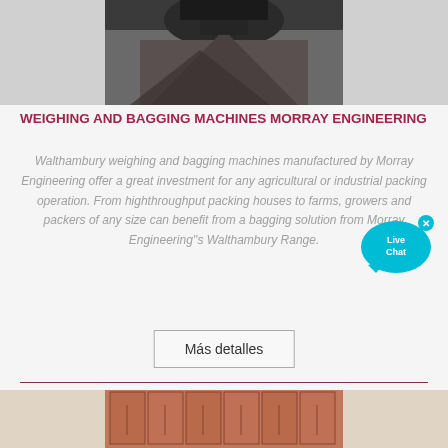[Figure (photo): Top portion of industrial weighing/bagging machinery with dark materials being processed, partially visible at top of page]
WEIGHING AND BAGGING MACHINES MORRAY ENGINEERING
Walthambury weighing and bagging machines manufactured by Morray Engineering offer a great investment for any agricultural or industrial packing operation. From highthroughput packing houses to farms, growers and packers of any size can benefit from a bagging solution from Morray Engineering''s Walthambury Range.
[Figure (other): Live Chat button/widget overlay — cyan speech bubble with 'Live Chat' text and white X close button]
Más detalles
[Figure (photo): Stack of red/terracotta bricks or paving stones arranged on a pallet, partially visible at bottom of page]